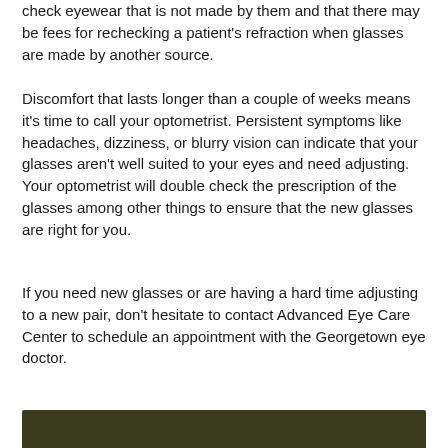check eyewear that is not made by them and that there may be fees for rechecking a patient's refraction when glasses are made by another source.
Discomfort that lasts longer than a couple of weeks means it's time to call your optometrist. Persistent symptoms like headaches, dizziness, or blurry vision can indicate that your glasses aren't well suited to your eyes and need adjusting. Your optometrist will double check the prescription of the glasses among other things to ensure that the new glasses are right for you.
If you need new glasses or are having a hard time adjusting to a new pair, don't hesitate to contact Advanced Eye Care Center to schedule an appointment with the Georgetown eye doctor.
[Figure (photo): Dark olive/dark colored image bar at the bottom of the page]